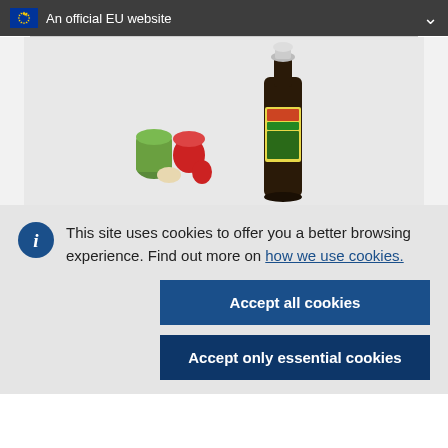An official EU website
[Figure (photo): Product photo showing colorful bottle caps/stoppers and a dark glass bottle with a swing-top cap and a yellow/green label, on a light grey background.]
This site uses cookies to offer you a better browsing experience. Find out more on how we use cookies.
Accept all cookies
Accept only essential cookies